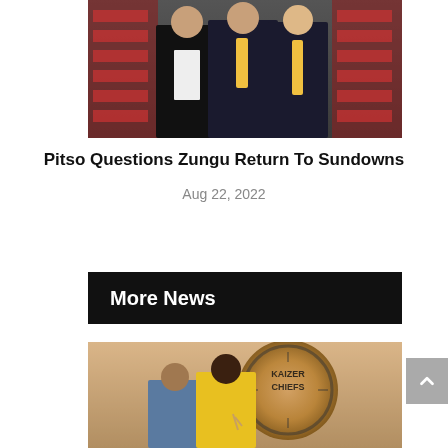[Figure (photo): Three men in formal suits posing together at an event]
Pitso Questions Zungu Return To Sundowns
Aug 22, 2022
More News
[Figure (photo): Two men posing in front of Kaizer Chiefs logo, one wearing yellow Kaizer Chiefs kit]